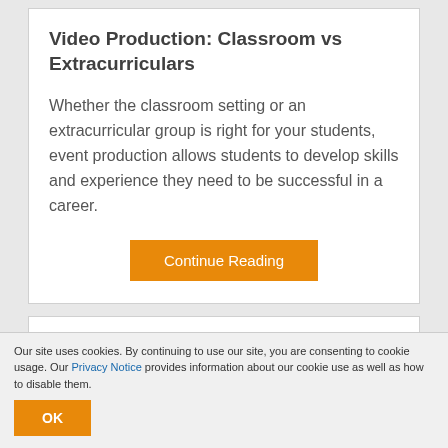Video Production: Classroom vs Extracurriculars
Whether the classroom setting or an extracurricular group is right for your students, event production allows students to develop skills and experience they need to be successful in a career.
Continue Reading
Don't miss out!
Our site uses cookies. By continuing to use our site, you are consenting to cookie usage. Our Privacy Notice provides information about our cookie use as well as how to disable them.
OK